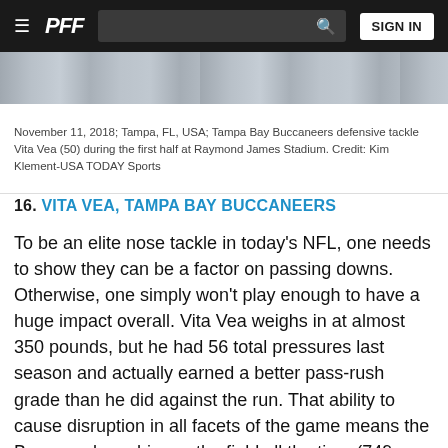PFF — SIGN IN
[Figure (photo): Partial photo of Tampa Bay Buccaneers player, showing jersey and equipment]
November 11, 2018; Tampa, FL, USA; Tampa Bay Buccaneers defensive tackle Vita Vea (50) during the first half at Raymond James Stadium. Credit: Kim Klement-USA TODAY Sports
16. VITA VEA, TAMPA BAY BUCCANEERS
To be an elite nose tackle in today's NFL, one needs to show they can be a factor on passing downs. Otherwise, one simply won't play enough to have a huge impact overall. Vita Vea weighs in at almost 350 pounds, but he had 56 total pressures last season and actually earned a better pass-rush grade than he did against the run. That ability to cause disruption in all facets of the game means the Bucs can keep him on the field all the time (749 snaps in 2019).